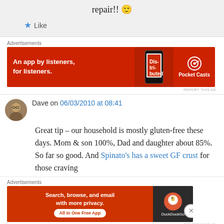repair!! 🙂
★ Like
Advertisements
[Figure (screenshot): Pocket Casts advertisement banner: red background with text 'An app by listeners, for listeners.' and Pocket Casts logo]
REPORT THIS AD
Dave on 06/03/2010 at 08:41
Great tip – our household is mostly gluten-free these days. Mom & son 100%, Dad and daughter about 85%. So far so good. And Spinato's has a sweet GF crust for those craving
Advertisements
[Figure (screenshot): DuckDuckGo advertisement banner: orange/red background with text 'Search, browse, and email with more privacy. All in One Free App' and DuckDuckGo logo]
REPORT THIS AD